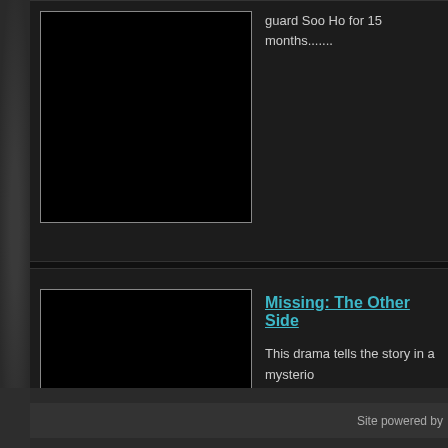guard Soo Ho for 15 months.......
[Figure (photo): Black placeholder image with grey border, top card]
Missing: The Other Side
[Figure (photo): Black placeholder image with grey border, bottom card]
This drama tells the story in a mysterious village where a spirits live, and follows cases that occur there, and the truths behind them.......
Site powered by